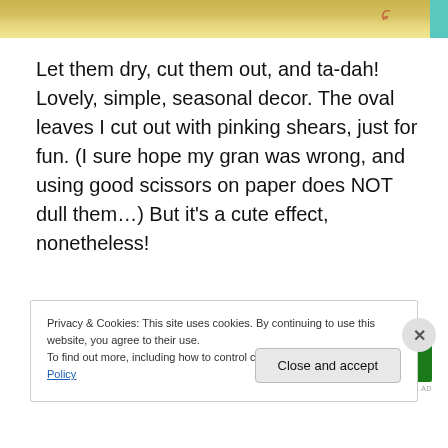[Figure (photo): Top portion of a photo showing warm yellow/tan background with a teal accent on the right edge and a red cursive mark visible]
Let them dry, cut them out, and ta-dah! Lovely, simple, seasonal decor. The oval leaves I cut out with pinking shears, just for fun. (I sure hope my gran was wrong, and using good scissors on paper does NOT dull them…) But it's a cute effect, nonetheless!
[Figure (other): Green advertisement banner with curved notches at top]
REPORT THIS AD
Privacy & Cookies: This site uses cookies. By continuing to use this website, you agree to their use.
To find out more, including how to control cookies, see here: Cookie Policy
Close and accept